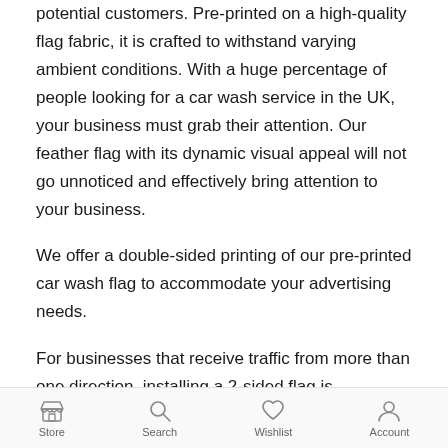potential customers. Pre-printed on a high-quality flag fabric, it is crafted to withstand varying ambient conditions. With a huge percentage of people looking for a car wash service in the UK, your business must grab their attention. Our feather flag with its dynamic visual appeal will not go unnoticed and effectively bring attention to your business.
We offer a double-sided printing of our pre-printed car wash flag to accommodate your advertising needs.
For businesses that receive traffic from more than one direction, installing a 2-sided flag is recommended to spread your message far and wide.
The taut fabric of our feather flag design is another
Store  Search  Wishlist  Account